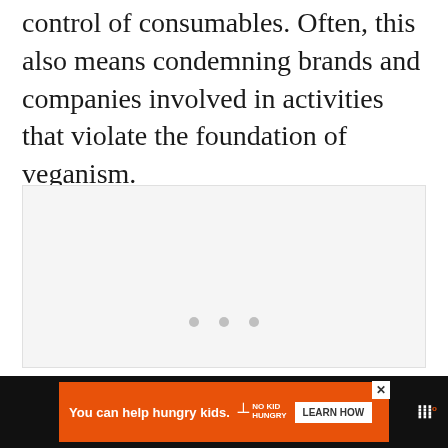control of consumables. Often, this also means condemning brands and companies involved in activities that violate the foundation of veganism.
[Figure (other): A light gray rectangular content area with three small gray dots at the bottom center, indicating a loading or placeholder image/carousel.]
[Figure (infographic): Advertisement banner: dark background with orange ad panel. Text: 'You can help hungry kids.' No Kid Hungry logo with fork icon. 'LEARN HOW' button. Wealthsimple logo on right with superscript degree symbol.]